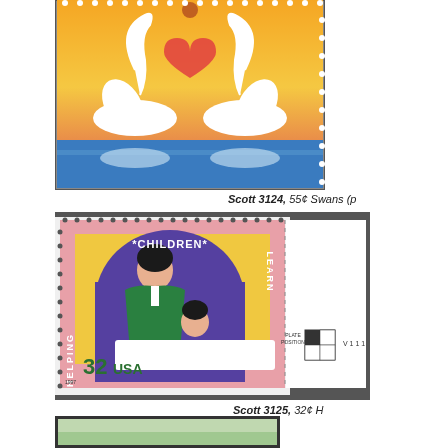[Figure (photo): Top portion of a US postage stamp showing two swans forming a heart shape against an orange/yellow sunset background, with blue water below. Stamp is partially cropped.]
Scott 3124, 55¢ Swans (p
[Figure (photo): US 32¢ stamp 'Helping Children Learn' showing an adult in green jacket reading with a child, seated in a purple chair. Pink background with text 'HELPING CHILDREN LEARN'. Shows plate position block and 'V 1 1 1' markings at bottom. Scott 3125.]
Scott 3125, 32¢ H
[Figure (photo): Bottom of page showing top edge of another stamp, partially cropped.]